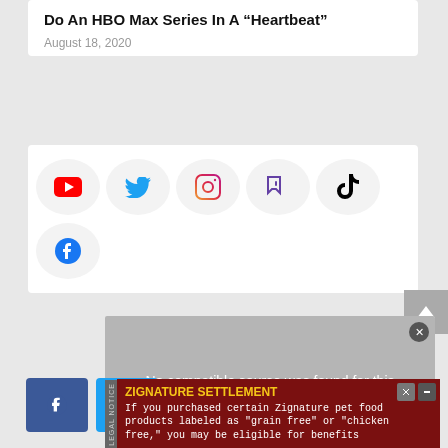Do An HBO Max Series In A “Heartbeat”
August 18, 2020
[Figure (other): Social media icons row: YouTube (red), Twitter (blue), Instagram (pink/purple gradient), Twitch (purple), TikTok (black), and Facebook (blue) icon buttons in circular backgrounds]
[Figure (screenshot): Video player overlay showing 'No compatible source was found for this media.' message on a dark background with an X close button]
[Figure (other): Facebook share button (blue) and Twitter share button (blue)]
ZIGNATURE SETTLEMENT
If you purchased certain Zignature pet food products labeled as "grain free" or "chicken free," you may be eligible for benefits